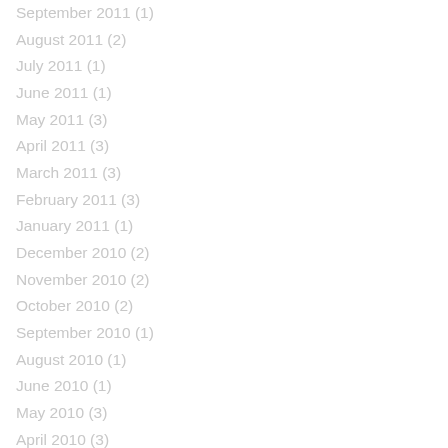September 2011 (1)
August 2011 (2)
July 2011 (1)
June 2011 (1)
May 2011 (3)
April 2011 (3)
March 2011 (3)
February 2011 (3)
January 2011 (1)
December 2010 (2)
November 2010 (2)
October 2010 (2)
September 2010 (1)
August 2010 (1)
June 2010 (1)
May 2010 (3)
April 2010 (3)
March 2010 (1)
February 2010 (1)